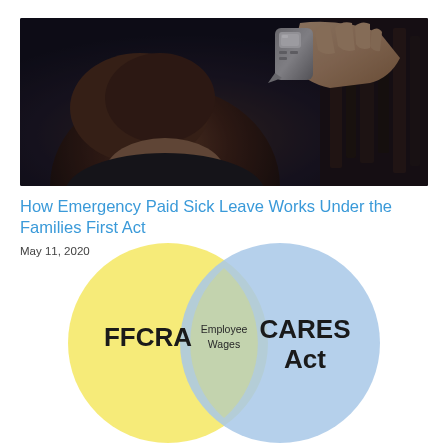[Figure (photo): Child having temperature taken with a forehead thermometer by an adult hand]
How Emergency Paid Sick Leave Works Under the Families First Act
May 11, 2020
[Figure (infographic): Venn diagram showing FFCRA (yellow circle) and CARES Act (blue circle) overlapping at Employee Wages]